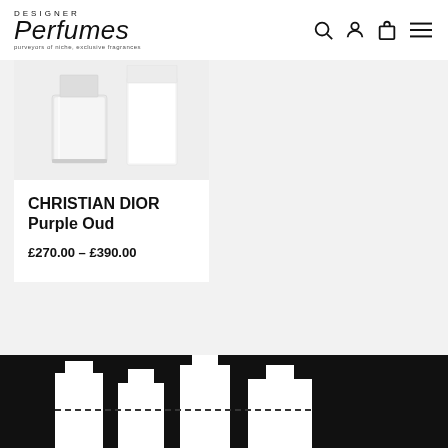Designer Perfumes — purveyors of niche, exclusive fragrances
[Figure (photo): Product photo of two perfume bottles/containers on white background — one is a short round glass tumbler, the other a tall cylindrical white cap]
CHRISTIAN DIOR Purple Oud
£270.00 – £390.00
[Figure (illustration): White silhouettes of multiple perfume bottle shapes on a black background at the bottom of the page]